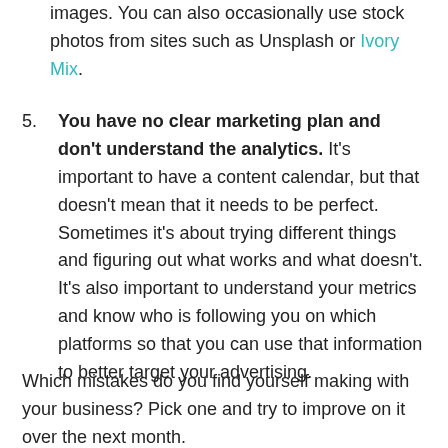images. You can also occasionally use stock photos from sites such as Unsplash or Ivory Mix.
5. You have no clear marketing plan and don't understand the analytics. It's important to have a content calendar, but that doesn't mean that it needs to be perfect. Sometimes it's about trying different things and figuring out what works and what doesn't. It's also important to understand your metrics and know who is following you on which platforms so that you can use that information to better target your advertising.
Which mistakes do you find yourself making with your business? Pick one and try to improve on it over the next month.